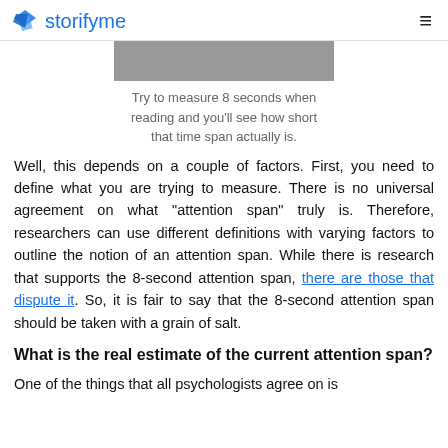storifyme
[Figure (photo): Partial photo of a person, cropped at top]
Try to measure 8 seconds when reading and you'll see how short that time span actually is.
Well, this depends on a couple of factors. First, you need to define what you are trying to measure. There is no universal agreement on what "attention span" truly is. Therefore, researchers can use different definitions with varying factors to outline the notion of an attention span. While there is research that supports the 8-second attention span, there are those that dispute it. So, it is fair to say that the 8-second attention span should be taken with a grain of salt.
What is the real estimate of the current attention span?
One of the things that all psychologists agree on is